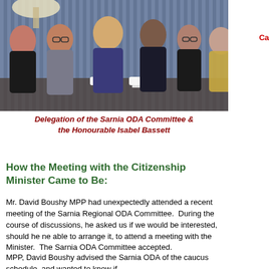[Figure (photo): Group photo of the Delegation of the Sarnia ODA Committee and the Honourable Isabel Bassett, showing six people seated around a table with coffee cups.]
Ca
Delegation of the Sarnia ODA Committee & the Honourable Isabel Bassett
How the Meeting with the Citizenship Minister Came to Be:
Mr. David Boushy MPP had unexpectedly attended a recent meeting of the Sarnia Regional ODA Committee.  During the course of discussions, he asked us if we would be interested, should he ne able to arrange it, to attend a meeting with the Minister.  The Sarnia ODA Committee accepted.
MPP, David Boushy advised the Sarnia ODA of the caucus schedule, and wanted to know if